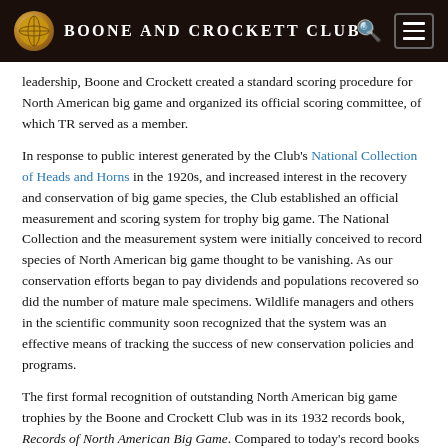Boone and Crockett Club®
leadership, Boone and Crockett created a standard scoring procedure for North American big game and organized its official scoring committee, of which TR served as a member.
In response to public interest generated by the Club's National Collection of Heads and Horns in the 1920s, and increased interest in the recovery and conservation of big game species, the Club established an official measurement and scoring system for trophy big game. The National Collection and the measurement system were initially conceived to record species of North American big game thought to be vanishing. As our conservation efforts began to pay dividends and populations recovered so did the number of mature male specimens. Wildlife managers and others in the scientific community soon recognized that the system was an effective means of tracking the success of new conservation policies and programs.
The first formal recognition of outstanding North American big game trophies by the Boone and Crockett Club was in its 1932 records book, Records of North American Big Game. Compared to today's record books it included relatively few specimens that